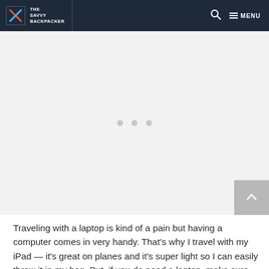THE SAVVY BACKPACKER
[Figure (other): Advertisement placeholder with three loading dots in a light gray area]
Traveling with a laptop is kind of a pain but having a computer comes in very handy. That's why I travel with my iPad — it's great on planes and it's super light so I can easily throw it in my bag. But, if you do need a laptop, make sure it's something lightweight like the MacBook Air.